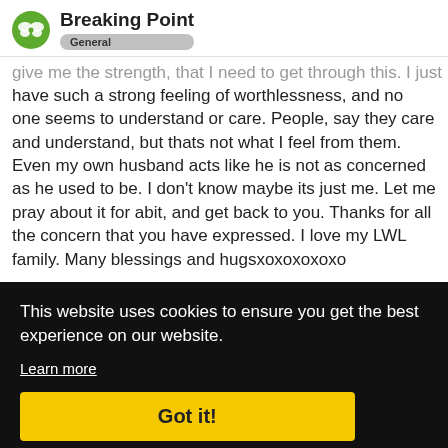Breaking Point — General
give me the strength, that I need to get through this. I just have such a strong feeling of worthlessness, and no one seems to understand or care. People, say they care and understand, but thats not what I feel from them. Even my own husband acts like he is not as concerned as he used to be. I don't know maybe its just me. Let me pray about it for abit, and get back to you. Thanks for all the concern that you have expressed. I love my LWL family. Many blessings and hugsxoxoxoxoxo
This website uses cookies to ensure you get the best experience on our website.
Learn more
Got it!
Apr '12
attack heart
chest and the jittery, nervous feeling was
5